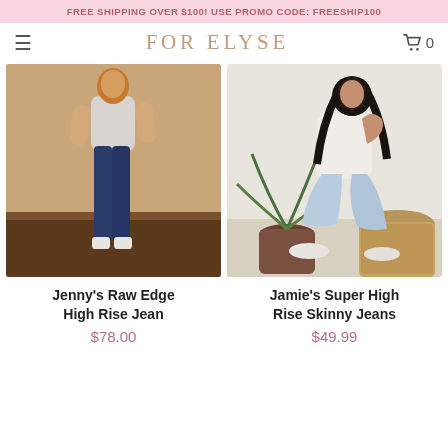FREE SHIPPING OVER $100! USE PROMO CODE: FREESHIP100
FOR ELYSE
[Figure (photo): Woman wearing white crop top and dark blue high rise skinny jeans, standing in front of a brick wall with mulch ground cover]
[Figure (photo): Woman wearing white tank top and light blue high rise skinny jeans, sitting on a straw/wicker stool next to a potted palm plant]
Jenny's Raw Edge High Rise Jean
$78.00
Jamie's Super High Rise Skinny Jeans
$49.99